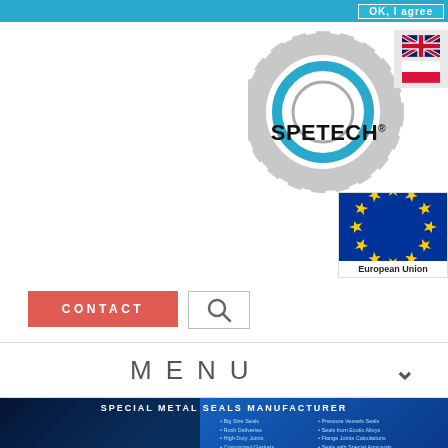OK, I agree
[Figure (logo): SPETECH logo with gear graphic and language flags (UK, Poland) and European Union logo]
CONTACT
[Figure (other): Search icon button]
MENU
[Figure (photo): Special Metal Seals Manufacturer - hero banner with metal seals photo and product list: Big Size Seals, Rush Deliveries, High Duty Joints, Customized Gaskets, Pressure Vessels Seals, Seals from Exotic Alloys, Flange Joints Calculations, Seals with Special Approvals]